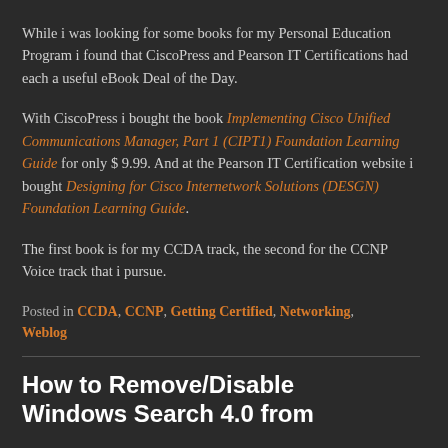While i was looking for some books for my Personal Education Program i found that CiscoPress and Pearson IT Certifications had each a useful eBook Deal of the Day.
With CiscoPress i bought the book Implementing Cisco Unified Communications Manager, Part 1 (CIPT1) Foundation Learning Guide for only $ 9.99. And at the Pearson IT Certification website i bought Designing for Cisco Internetwork Solutions (DESGN) Foundation Learning Guide.
The first book is for my CCDA track, the second for the CCNP Voice track that i pursue.
Posted in CCDA, CCNP, Getting Certified, Networking, Weblog
How to Remove/Disable Windows Search 4.0 from